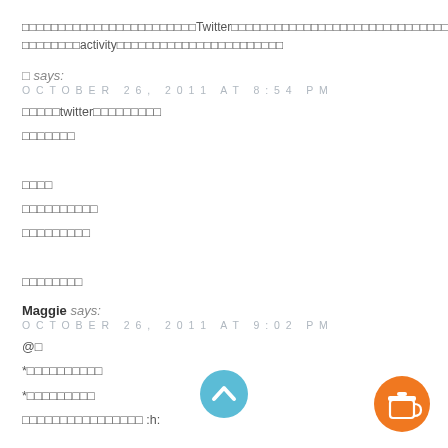□□□□□□□□□□□□□□□□□□□□□□□□Twitter□□□□□□□□□□□□□□□□□□□□□□□□□□□□□□□□□□□□□□□□□□□□□□□□activity□□□□□□□□□□□□□□□□□□□□□□□
□ says:
OCTOBER 26, 2011 AT 8:54 PM
□□□□□twitter□□□□□□□□□
□□□□□□□

□□□□
□□□□□□□□□□
□□□□□□□□□

□□□□□□□□
Maggie says:
OCTOBER 26, 2011 AT 9:02 PM
@□
*□□□□□□□□□□
*□□□□□□□□□
□□□□□□□□□□□□□□□□ :h: